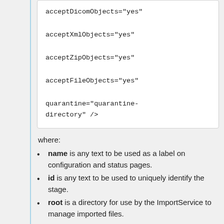acceptDicomObjects="yes"

acceptXmlObjects="yes"

acceptZipObjects="yes"

acceptFileObjects="yes"

quarantine="quarantine-directory" />
where:
name is any text to be used as a label on configuration and status pages.
id is any text to be used to uniquely identify the stage.
root is a directory for use by the ImportService to manage imported files.
treeRoot is the root directory of the